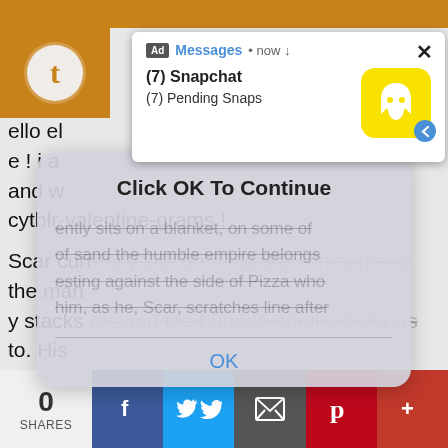[Figure (screenshot): Snapchat ad notification popup showing '(7) Snapchat' and '(7) Pending Snaps' with Snapchat yellow ghost icon and a close X button]
ello el
e ! i a
and w
cytblr-valentine-grams !
[Figure (screenshot): Browser OK dialog overlay with 'Click OK To Continue' title and an OK button, overlaying strikethrough text about Scar sitting on a blanket on sand stacks belonging to a humble empire, back resting against Pizza, scratching lines into his book]
Scar currently sits on a blanket, on some of the many stacks of sand the humble empire belongs to. His back is resting against the side of Pizza who also rests behind him, as he, Scar, scratches line after line into his book.
Usually, he could come up with the words, silly and eccentric and twisting and if he dared considered, poetic.
0 SHARES